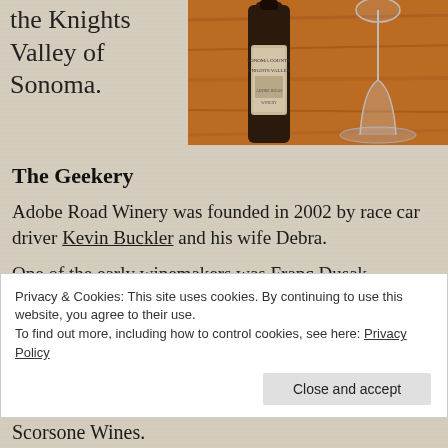the Knights Valley of Sonoma.
[Figure (photo): Photo of a wine bottle labeled 'Sonoma County Knights Valley' next to a wine glass on a wooden surface.]
The Geekery
Adobe Road Winery was founded in 2002 by race car driver Kevin Buckler and his wife Debra.
One of the early winemakers was Franc Dusak
Privacy & Cookies: This site uses cookies. By continuing to use this website, you agree to their use.
To find out more, including how to control cookies, see here: Privacy Policy
Scorsone Wines.